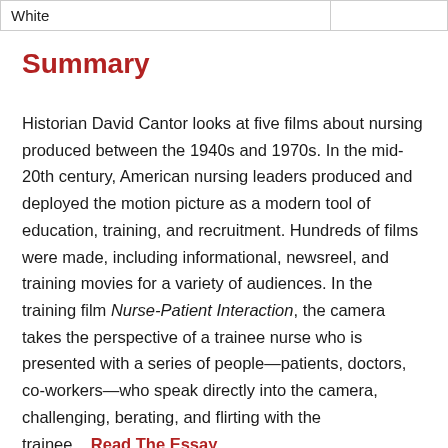| White |  |
Summary
Historian David Cantor looks at five films about nursing produced between the 1940s and 1970s. In the mid-20th century, American nursing leaders produced and deployed the motion picture as a modern tool of education, training, and recruitment. Hundreds of films were made, including informational, newsreel, and training movies for a variety of audiences. In the training film Nurse-Patient Interaction, the camera takes the perspective of a trainee nurse who is presented with a series of people—patients, doctors, co-workers—who speak directly into the camera, challenging, berating, and flirting with the trainee....Read The Essay